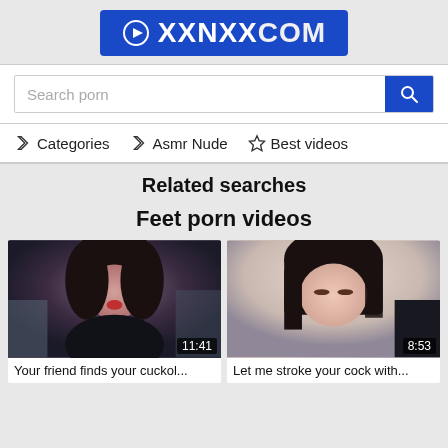[Figure (logo): XXNXX.COM logo in blue rounded rectangle with play icon]
Search porn
Categories  Asmr Nude  Best videos
Related searches
Feet porn videos
[Figure (screenshot): Video thumbnail showing woman with black hair, duration 11:41]
Your friend finds your cuckol...
[Figure (screenshot): Video thumbnail showing woman with dark hair, duration 8:53]
Let me stroke your cock with...